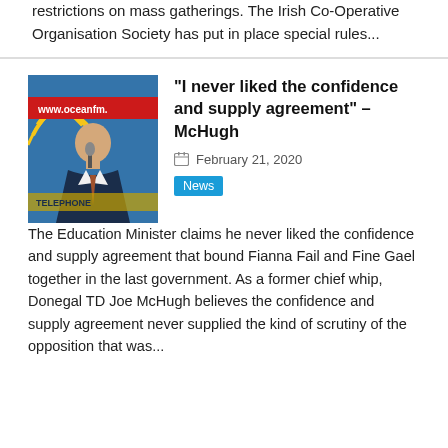restrictions on mass gatherings. The Irish Co-Operative Organisation Society has put in place special rules...
[Figure (photo): Man in suit speaking at a microphone in front of an OceanFM radio station banner]
“I never liked the confidence and supply agreement” – McHugh
February 21, 2020
News
The Education Minister claims he never liked the confidence and supply agreement that bound Fianna Fail and Fine Gael together in the last government. As a former chief whip, Donegal TD Joe McHugh believes the confidence and supply agreement never supplied the kind of scrutiny of the opposition that was...